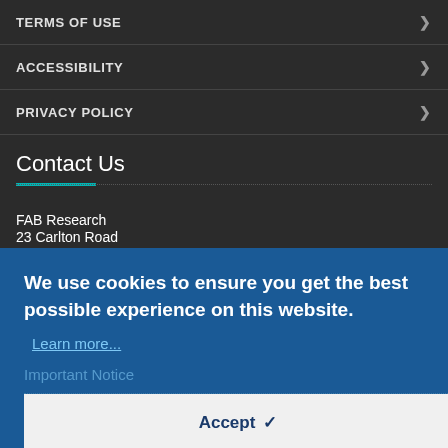TERMS OF USE
ACCESSIBILITY
PRIVACY POLICY
Contact Us
FAB Research
23 Carlton Road
Oxford
O...
We use cookies to ensure you get the best possible experience on this website.
Learn more...
Important Notice
Accept
Medical opinion and guidance should always be sought for any symptoms that might possibly reflect a known or